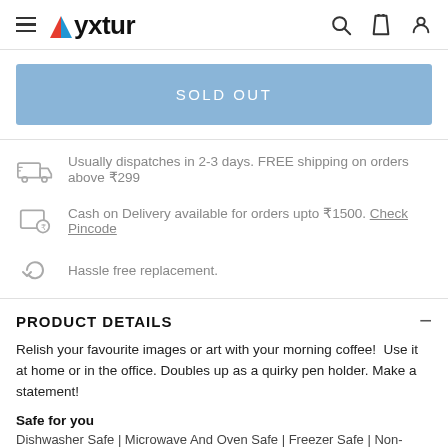Myxtur
SOLD OUT
Usually dispatches in 2-3 days. FREE shipping on orders above ₹299
Cash on Delivery available for orders upto ₹1500. Check Pincode
Hassle free replacement.
PRODUCT DETAILS
Relish your favourite images or art with your morning coffee!  Use it at home or in the office. Doubles up as a quirky pen holder. Make a statement!
Safe for you
Dishwasher Safe | Microwave And Oven Safe | Freezer Safe | Non-Toxic |